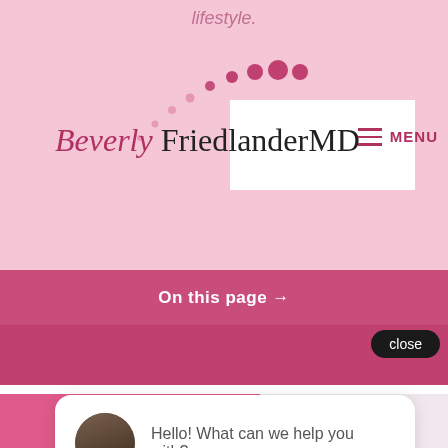lifestyle.
[Figure (logo): Beverly Friedlander MD logo with decorative pink dots arc and white background box]
MENU
On this page →
close
Hello! What can we help you with?
[Figure (illustration): Pink circular chat/message icon]
(973) 834-7690    Appointment